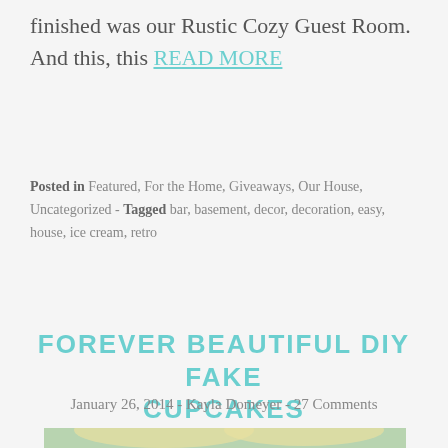finished was our Rustic Cozy Guest Room. And this, this READ MORE
Posted in Featured, For the Home, Giveaways, Our House, Uncategorized - Tagged bar, basement, decor, decoration, easy, house, ice cream, retro
FOREVER BEAUTIFUL DIY FAKE CUPCAKES
January 26, 2014 - Kayla Domeyer - 27 Comments
[Figure (photo): Photo of two decorative fake cupcakes with swirled yellow frosting and colorful sprinkles, one in a purple wrapper and one in a red wrapper, on a light blue/green background.]